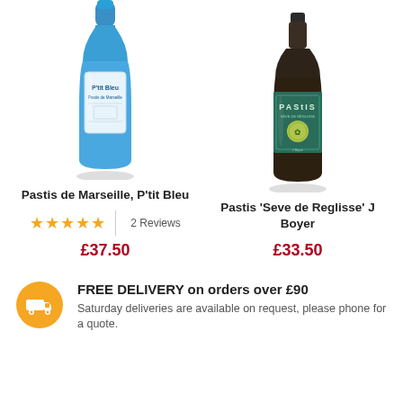[Figure (photo): Blue glass bottle of Pastis de Marseille P'tit Bleu]
[Figure (photo): Dark glass bottle of Pastis 'Seve de Reglisse' J Boyer]
Pastis de Marseille, P'tit Bleu
★★★★★  2 Reviews   £37.50
Pastis 'Seve de Reglisse' J Boyer
£33.50
FREE DELIVERY on orders over £90
Saturday deliveries are available on request, please phone for a quote.